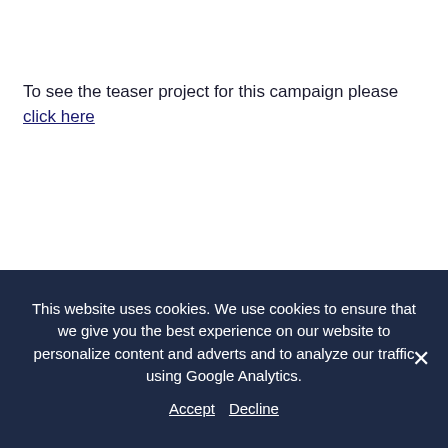To see the teaser project for this campaign please click here
This website uses cookies. We use cookies to ensure that we give you the best experience on our website to personalize content and adverts and to analyze our traffic using Google Analytics.  Accept  Decline